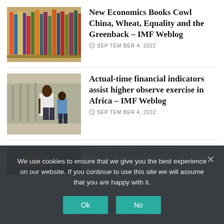[Figure (photo): Bookshelf with many colorful books arranged in a curved row]
New Economics Books Cowl China, Wheat, Equality and the Greenback – IMF Weblog
SEPTEMBER 4, 2022
[Figure (photo): People walking on a street in Africa, urban scene with people in casual clothing]
Actual-time financial indicators assist higher observe exercise in Africa – IMF Weblog
SEPTEMBER 4, 2022
[Figure (photo): Partial view of a dark image with orange fire-like elements]
Capital market rules are
We use cookies to ensure that we give you the best experience on our website. If you continue to use this site we will assume that you are happy with it.